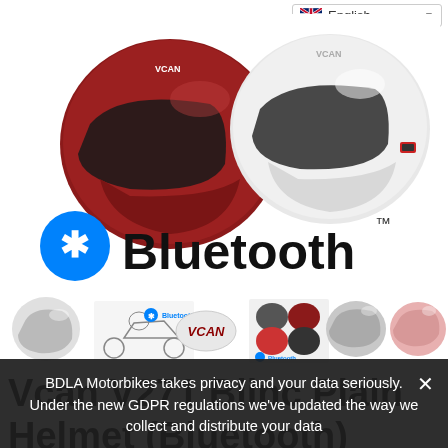[Figure (photo): Two motorcycle helmets — one dark red/maroon and one white — displayed side by side, both showing Bluetooth branding. Below them is the Bluetooth logo (blue circle with white asterisk-like symbol) followed by the word 'Bluetooth' in bold black text with a TM superscript.]
[Figure (photo): Thumbnail strip showing multiple helmet views: a white helmet side view, a technical line-drawing of a helmet on a motorcycle, the VCAN logo badge, multiple small helmet photos in various colors (grey, red, black), and two larger helmet side-view images in silver/grey and pink.]
Vcan V271 Blinc Plain Helmet (Bluetooth)
BDLA Motorbikes takes privacy and your data seriously. Under the new GDPR regulations we've updated the way we collect and distribute your data